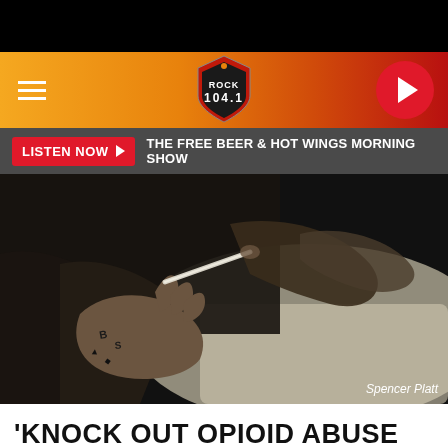[Figure (screenshot): Rock 104.1 radio station website header with orange-to-red gradient background, hamburger menu icon, Rock 104.1 shield logo, and red circular play button]
LISTEN NOW ▶  THE FREE BEER & HOT WINGS MORNING SHOW
[Figure (photo): Close-up photo of tattooed hands holding a glass pipe/needle, dark background, credit: Spencer Platt]
Spencer Platt
'KNOCK OUT OPIOID ABUSE DAY'